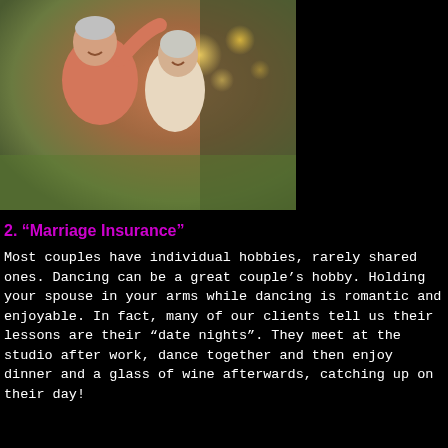[Figure (photo): An older couple dancing together outdoors in warm evening light. The man, wearing a salmon/coral shirt with gray hair, is smiling and holding the woman's hand up. The woman, with short gray hair, is wearing a light-colored outfit and smiling up at him. Bokeh lights visible in background.]
2. “Marriage Insurance”
Most couples have individual hobbies, rarely shared ones. Dancing can be a great couple’s hobby. Holding your spouse in your arms while dancing is romantic and enjoyable. In fact, many of our clients tell us their lessons are their “date nights”. They meet at the studio after work, dance together and then enjoy dinner and a glass of wine afterwards, catching up on their day!